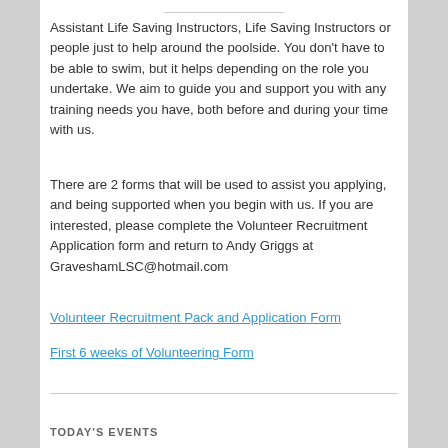Assistant Life Saving Instructors, Life Saving Instructors or people just to help around the poolside. You don't have to be able to swim, but it helps depending on the role you undertake. We aim to guide you and support you with any training needs you have, both before and during your time with us.
There are 2 forms that will be used to assist you applying, and being supported when you begin with us. If you are interested, please complete the Volunteer Recruitment Application form and return to Andy Griggs at GraveshamLSC@hotmail.com
Volunteer Recruitment Pack and Application Form
First 6 weeks of Volunteering Form
TODAY'S EVENTS